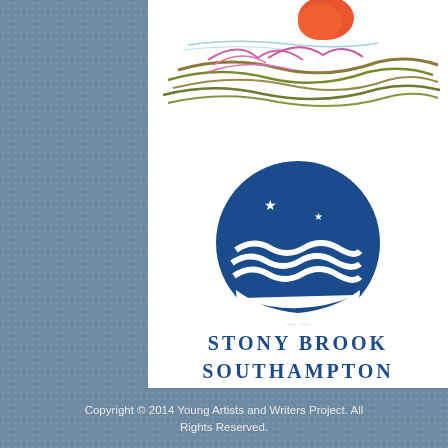[Figure (illustration): Child's drawing with colorful scribbles suggesting a sun and landscape at the top of a white page]
[Figure (logo): Stony Brook Southampton circular logo: dark blue circle with white stars above stylized blue waves]
STONY BROOK
SOUTHAMPTON
Copyright © 2014 Young Artists and Writers Project. All Rights Reserved.